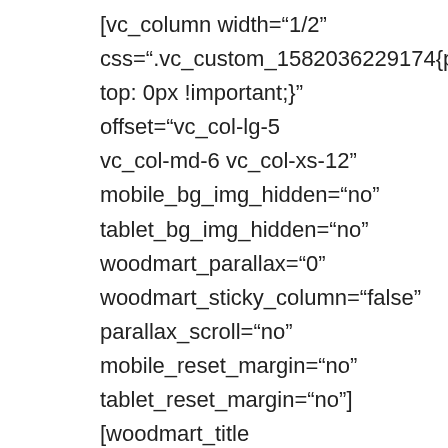[vc_column width="1/2" css=".vc_custom_1582036229174{padding-top: 0px !important;}" offset="vc_col-lg-5 vc_col-md-6 vc_col-xs-12" mobile_bg_img_hidden="no" tablet_bg_img_hidden="no" woodmart_parallax="0" woodmart_sticky_column="false" parallax_scroll="no" mobile_reset_margin="no" tablet_reset_margin="no"][woodmart_title color="primary" woodmart_css_id="5f0c66abaaf05"